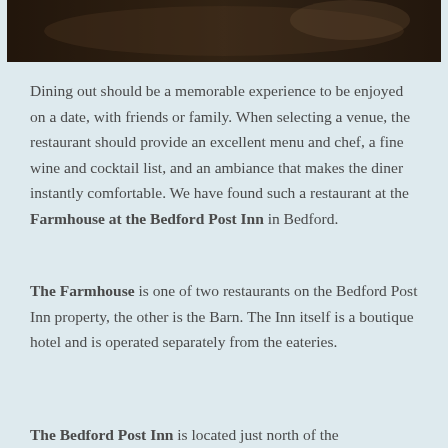[Figure (photo): Dark/dim photograph at the top of the page, appears to be an interior restaurant or dining scene]
Dining out should be a memorable experience to be enjoyed on a date, with friends or family. When selecting a venue, the restaurant should provide an excellent menu and chef, a fine wine and cocktail list, and an ambiance that makes the diner instantly comfortable. We have found such a restaurant at the Farmhouse at the Bedford Post Inn in Bedford.
The Farmhouse is one of two restaurants on the Bedford Post Inn property, the other is the Barn. The Inn itself is a boutique hotel and is operated separately from the eateries.
The Bedford Post Inn is located just north of the